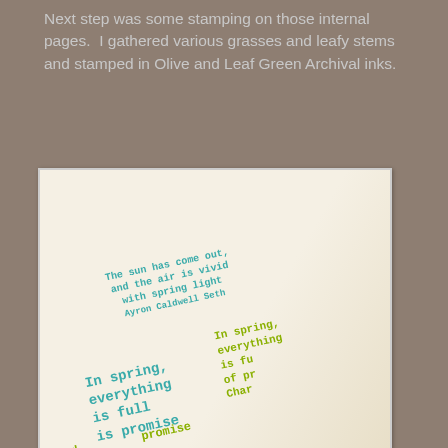Next step was some stamping on those internal pages.  I gathered various grasses and leafy stems and stamped in Olive and Leaf Green Archival inks.
[Figure (photo): A photograph of an open book or card showing stamped poetry text in teal and olive/yellow-green typewriter-style fonts, rotated at an angle. Teal text reads 'The sun has come out, and the air is vivid with spring light  Ayron Caldwell Seth' and 'In spring, everything is full is promise'. Olive/yellow-green text reads 'In spring, everything is full of promise Char...' (partially visible).]